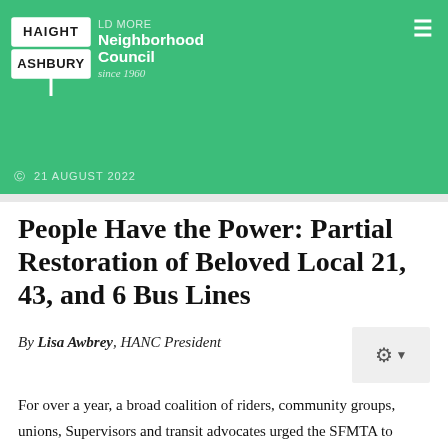Haight Ashbury Neighborhood Council — since 1960
21 AUGUST 2022
People Have the Power: Partial Restoration of Beloved Local 21, 43, and 6 Bus Lines
By Lisa Awbrey, HANC President
For over a year, a broad coalition of riders, community groups, unions, Supervisors and transit advocates urged the SFMTA to restore additional lines removed during the pandemic. It has now been a little over one month since SFMTA fully restored both the local neighborhood serving 43 Masonic and the 6 Haight-Parnassus lines, and partially restored the 21 Hayes (current start/end points Fulton and Shrader to Hyde and Grove). We requested ridership data since the return of these